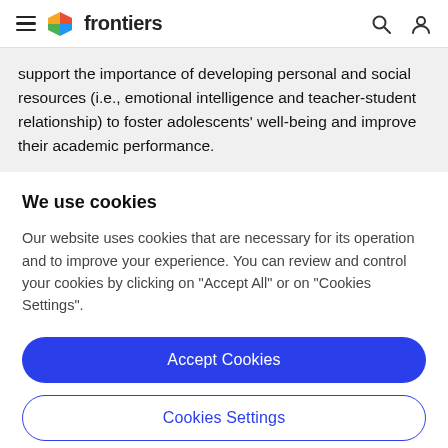frontiers
support the importance of developing personal and social resources (i.e., emotional intelligence and teacher-student relationship) to foster adolescents' well-being and improve their academic performance.
We use cookies
Our website uses cookies that are necessary for its operation and to improve your experience. You can review and control your cookies by clicking on "Accept All" or on "Cookies Settings".
Accept Cookies
Cookies Settings